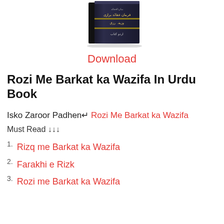[Figure (photo): A dark-colored Urdu book cover shown at an angle, with Arabic/Urdu text and a decorative design in a partial top view.]
Download
Rozi Me Barkat ka Wazifa In Urdu Book
Isko Zaroor Padhen↵ Rozi Me Barkat ka Wazifa
Must Read ↓↓↓
Rizq me Barkat ka Wazifa
Farakhi e Rizk
Rozi me Barkat ka Wazifa